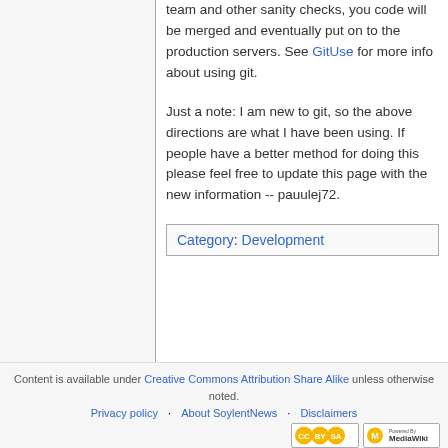team and other sanity checks, you code will be merged and eventually put on to the production servers. See GitUse for more info about using git.
Just a note: I am new to git, so the above directions are what I have been using. If people have a better method for doing this please feel free to update this page with the new information -- pauulej72.
Category: Development
Content is available under Creative Commons Attribution Share Alike unless otherwise noted. Privacy policy | About SoylentNews | Disclaimers